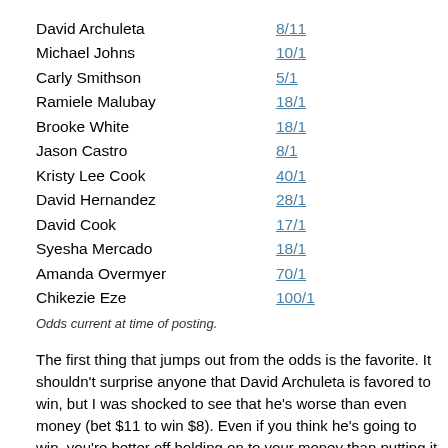David Archuleta   8/11
Michael Johns   10/1
Carly Smithson   5/1
Ramiele Malubay   18/1
Brooke White   18/1
Jason Castro   8/1
Kristy Lee Cook   40/1
David Hernandez   28/1
David Cook   17/1
Syesha Mercado   18/1
Amanda Overmyer   70/1
Chikezie Eze   100/1
Odds current at time of posting.
The first thing that jumps out from the odds is the favorite. It shouldn't surprise anyone that David Archuleta is favored to win, but I was shocked to see that he's worse than even money (bet $11 to win $8). Even if you think he's going to win, you're better off holding on to your money than putting it on him at those odds.
People should also keep in mind that there have been several years whe the early favorite didn't end up winning. In season 1, Tamyra Gray was a favorite to win, and she didn't even make the top three. Kelly Clarkson